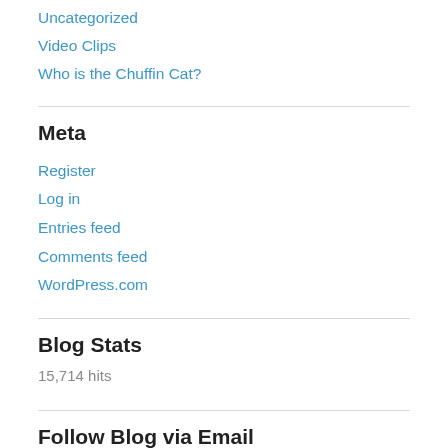Uncategorized
Video Clips
Who is the Chuffin Cat?
Meta
Register
Log in
Entries feed
Comments feed
WordPress.com
Blog Stats
15,714 hits
Follow Blog via Email